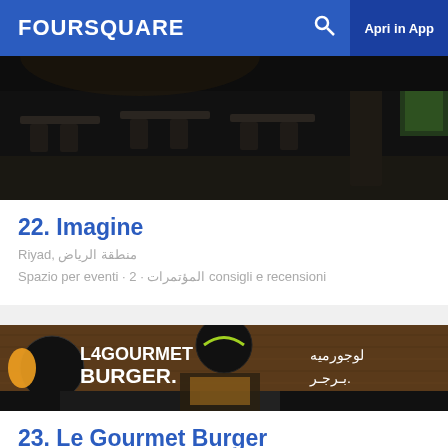FOURSQUARE  Apri in App
[Figure (photo): Interior of a dark restaurant with chairs and tables visible]
22. Imagine
Riyad, منطقة الرياض
Spazio per eventi · 2 · المؤتمرات consigli e recensioni
[Figure (photo): Exterior of Le Gourmet Burger restaurant with illuminated signage in English and Arabic]
23. Le Gourmet Burger